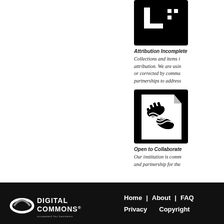[Figure (logo): Attribution Incomplete icon - black square with white L-shape and dots]
Attribution Incomplete
Collections and items in attribution. We are using or corrected by community partnerships to address
[Figure (logo): Open to Collaborate icon - black square with white hands and document]
Open to Collaborate
Our institution is committed and partnership for the
DIGITAL COMMONS powered by bepress | Home | About | FAQ | Privacy | Copyright